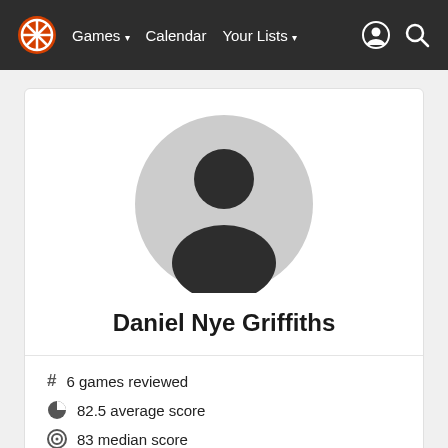Games  Calendar  Your Lists
[Figure (photo): Default user avatar placeholder — grey circle with dark silhouette of a person (head and shoulders)]
Daniel Nye Griffiths
# 6 games reviewed
82.5 average score
83 median score